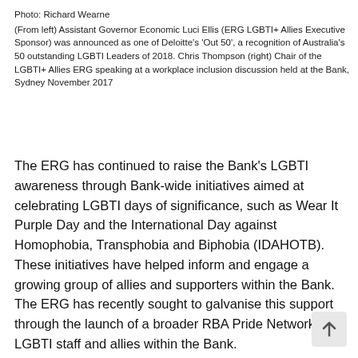Photo: Richard Wearne
(From left) Assistant Governor Economic Luci Ellis (ERG LGBTI+ Allies Executive Sponsor) was announced as one of Deloitte's 'Out 50', a recognition of Australia's 50 outstanding LGBTI Leaders of 2018. Chris Thompson (right) Chair of the LGBTI+ Allies ERG speaking at a workplace inclusion discussion held at the Bank, Sydney November 2017
The ERG has continued to raise the Bank's LGBTI awareness through Bank-wide initiatives aimed at celebrating LGBTI days of significance, such as Wear It Purple Day and the International Day against Homophobia, Transphobia and Biphobia (IDAHOTB). These initiatives have helped inform and engage a growing group of allies and supporters within the Bank. The ERG has recently sought to galvanise this support through the launch of a broader RBA Pride Network LGBTI staff and allies within the Bank.